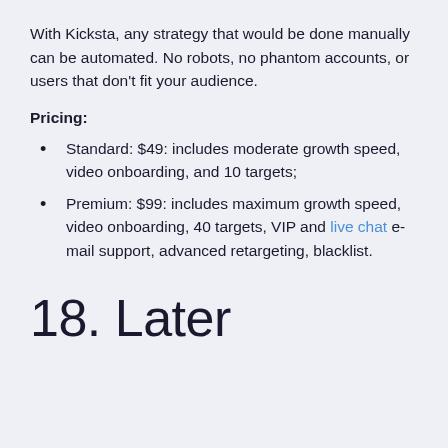With Kicksta, any strategy that would be done manually can be automated. No robots, no phantom accounts, or users that don't fit your audience.
Pricing:
Standard: $49: includes moderate growth speed, video onboarding, and 10 targets;
Premium: $99: includes maximum growth speed, video onboarding, 40 targets, VIP and live chat e-mail support, advanced retargeting, blacklist.
18. Later